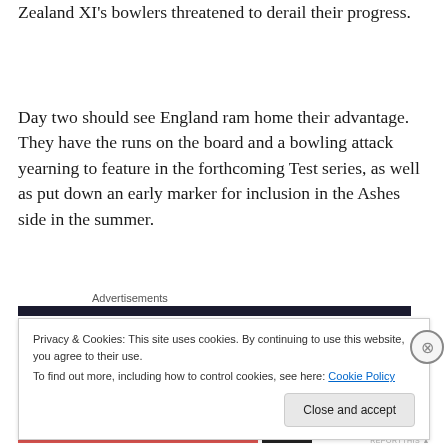Zealand XI's bowlers threatened to derail their progress.
Day two should see England ram home their advantage. They have the runs on the board and a bowling attack yearning to feature in the forthcoming Test series, as well as put down an early marker for inclusion in the Ashes side in the summer.
Advertisements
Privacy & Cookies: This site uses cookies. By continuing to use this website, you agree to their use.
To find out more, including how to control cookies, see here: Cookie Policy
Close and accept